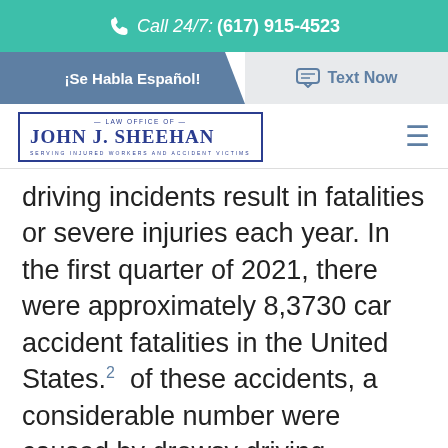Call 24/7: (617) 915-4523
¡Se Habla Español!  |  Text Now
[Figure (logo): Law Office of John J. Sheehan logo with tagline 'Serving Injured Workers and Accident Victims']
driving incidents result in fatalities or severe injuries each year. In the first quarter of 2021, there were approximately 8,3730 car accident fatalities in the United States.2  of these accidents, a considerable number were caused by drowsy driving. According to the previously mentioned AAA Foundation for